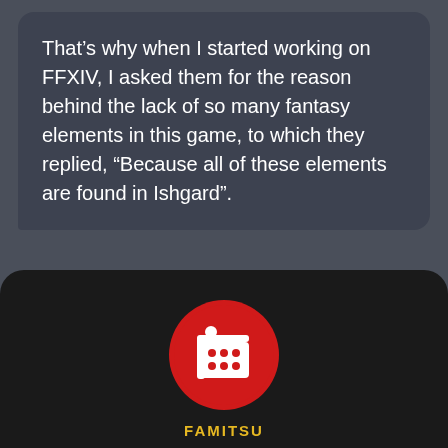That's why when I started working on FFXIV, I asked them for the reason behind the lack of so many fantasy elements in this game, to which they replied, “Because all of these elements are found in Ishgard”.
[Figure (logo): Famitsu red circular logo with white Japanese character design]
FAMITSU
So the fantasy elements that make up FF all reside in Ishgard, and that important area did not exist back